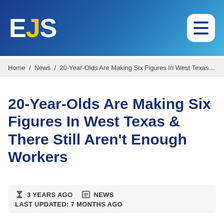EJS
Home / News / 20-Year-Olds Are Making Six Figures In West Texas & ...
20-Year-Olds Are Making Six Figures In West Texas & There Still Aren't Enough Workers
3 YEARS AGO   NEWS
LAST UPDATED: 7 MONTHS AGO